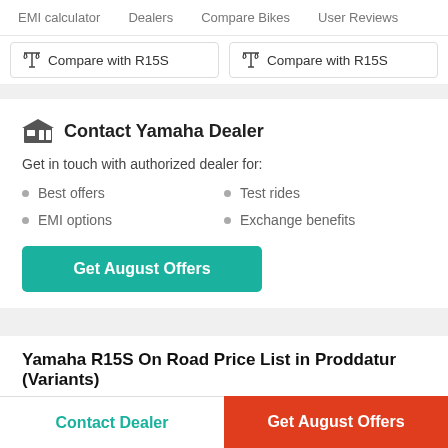EMI calculator   Dealers   Compare Bikes   User Reviews
Compare with R15S
Compare with R15S
Contact Yamaha Dealer
Get in touch with authorized dealer for:
Best offers
EMI options
Test rides
Exchange benefits
Get August Offers
Yamaha R15S On Road Price List in Proddatur (Variants)
Contact Dealer   Get August Offers